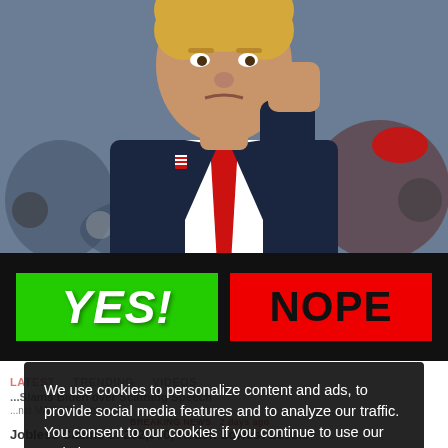[Figure (photo): Man in dark suit with red tie, fist raised, at a political rally with crowd in background]
[Figure (infographic): Poll buttons on black background: green YES! button on left, red NOPE button on right]
We use cookies to personalize content and ads, to provide social media features and to analyze our traffic. You consent to our cookies if you continue to use our website.
Accept
LATEST   TRENDING   VIDEOS
Slams Biden over Scathing Speech Against MAGA Republicans
BREAKING NEWS   2 days ago
Jobless Claims at 232,000, Reach Lowest Levels Since...